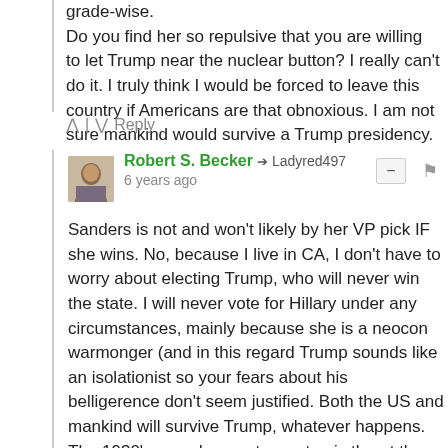grade-wise. Do you find her so repulsive that you are willing to let Trump near the nuclear button? I really can't do it. I truly think I would be forced to leave this country if Americans are that obnoxious. I am not sure mankind would survive a Trump presidency.
^ | v Reply
Robert S. Becker → Ladyred497
6 years ago
Sanders is not and won't likely by her VP pick IF she wins. No, because I live in CA, I don't have to worry about electing Trump, who will never win the state. I will never vote for Hillary under any circumstances, mainly because she is a neocon warmonger (and in this regard Trump sounds like an isolationist so your fears about his belligerence don't seem justified. Both the US and mankind will survive Trump, whatever happens. The 1930's posed a greater systemic threat than one loudmouth braggart who changes his position every other day. IN fact, a Trump presidency will rattle the GOP more than anything else, a terrific,disruptive force that will divide